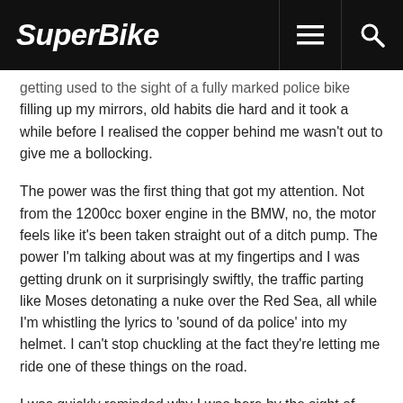SuperBike
getting used to the sight of a fully marked police bike filling up my mirrors, old habits die hard and it took a while before I realised the copper behind me wasn't out to give me a bollocking.
The power was the first thing that got my attention. Not from the 1200cc boxer engine in the BMW, no, the motor feels like it's been taken straight out of a ditch pump. The power I'm talking about was at my fingertips and I was getting drunk on it surprisingly swiftly, the traffic parting like Moses detonating a nuke over the Red Sea, all while I'm whistling the lyrics to 'sound of da police' into my helmet. I can't stop chuckling at the fact they're letting me ride one of these things on the road.
I was quickly reminded why I was here by the sight of wilting bunches of flowers and a scarred tree early on in